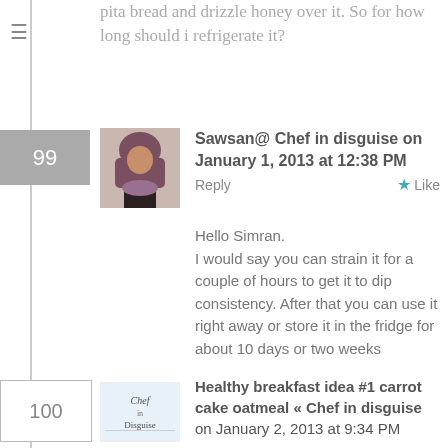pita bread and drizzle honey over it. So for how long should i refrigerate it?
Sawsan@ Chef in disguise on January 1, 2013 at 12:38 PM
Reply  ★ Like
Hello Simran.
I would say you can strain it for a couple of hours to get it to dip consistency. After that you can use it right away or store it in the fridge for about 10 days or two weeks
Healthy breakfast idea #1 carrot cake oatmeal « Chef in disguise on January 2, 2013 at 9:34 PM